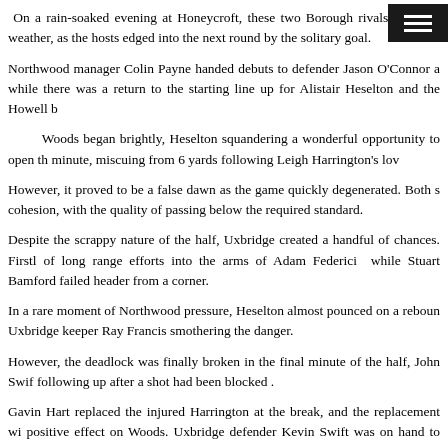On a rain-soaked evening at Honeycroft, these two Borough rivals pro...ga weather, as the hosts edged into the next round by the solitary goal.
Northwood manager Colin Payne handed debuts to defender Jason O'Connor a while there was a return to the starting line up for Alistair Heselton and the Howell b
Woods began brightly, Heselton squandering a wonderful opportunity to open th minute, miscuing from 6 yards following Leigh Harrington's lov
However, it proved to be a false dawn as the game quickly degenerated. Both s cohesion, with the quality of passing below the required standard.
Despite the scrappy nature of the half, Uxbridge created a handful of chances. Firstl of long range efforts into the arms of Adam Federici while Stuart Bamford failed header from a corner.
In a rare moment of Northwood pressure, Heselton almost pounced on a reboun Uxbridge keeper Ray Francis smothering the danger.
However, the deadlock was finally broken in the final minute of the half, John Swif following up after a shot had been blocked .
Gavin Hart replaced the injured Harrington at the break, and the replacement wi positive effect on Woods. Uxbridge defender Kevin Swift was on hand to head Har safety before another cross was taken at the second attempt by Francis.
Dean Clark was the next to threaten as Northwood began to enjoy their best spell, hi the box going just the wrong side of the upright.